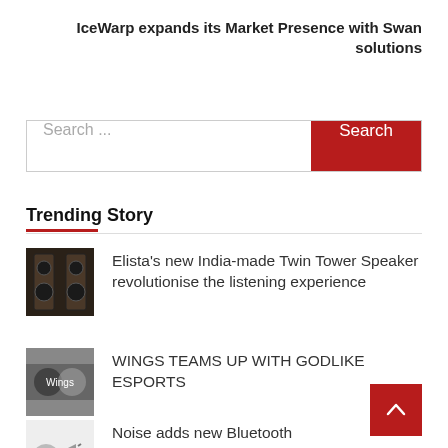IceWarp expands its Market Presence with Swan solutions
[Figure (screenshot): Search bar with placeholder text 'Search ...' and a red 'Search' button on the right]
Trending Story
Elista’s new India-made Twin Tower Speaker revolutionise the listening experience
WINGS TEAMS UP WITH GODLIKE ESPORTS
Noise adds new Bluetooth